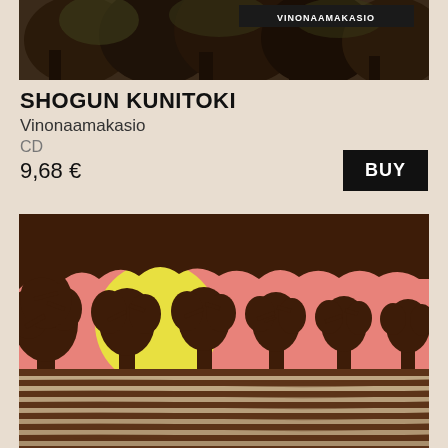[Figure (photo): Top portion of album cover for Shogun Kunitoki Vinonaamakasio showing dark forest/foliage imagery with VINONAAMAKASIO text]
SHOGUN KUNITOKI
Vinonaamakasio
CD
9,68 €
[Figure (illustration): Album artwork showing a woodblock-print style illustration of silhouetted bare trees against a pink/salmon sunset sky with a large yellow sun, and horizontal striped ground below, with a small bird in flight]